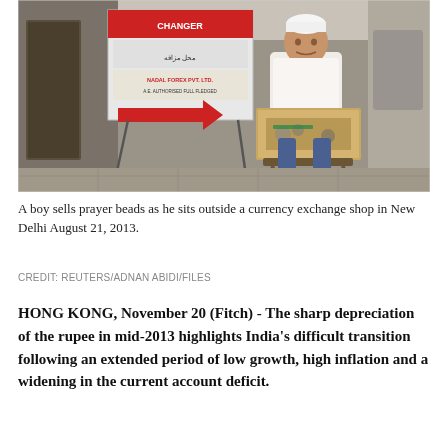[Figure (photo): A boy sitting outside a currency exchange shop (Nadal Forex Pvt. Ltd.) in New Delhi, selling prayer beads from a cardboard box. A sign in Urdu and English for a currency exchange is visible in the background.]
A boy sells prayer beads as he sits outside a currency exchange shop in New Delhi August 21, 2013.
CREDIT: REUTERS/ADNAN ABIDI/FILES
HONG KONG, November 20 (Fitch) - The sharp depreciation of the rupee in mid-2013 highlights India's difficult transition following an extended period of low growth, high inflation and a widening in the current account deficit.